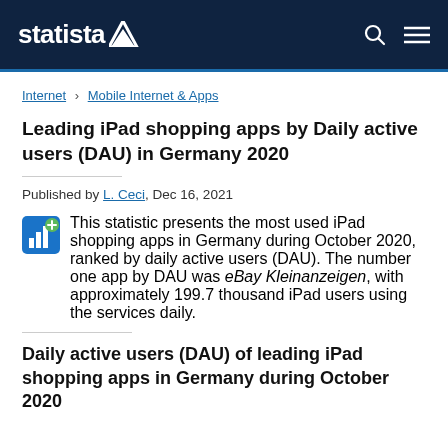statista
Internet › Mobile Internet & Apps
Leading iPad shopping apps by Daily active users (DAU) in Germany 2020
Published by L. Ceci, Dec 16, 2021
This statistic presents the most used iPad shopping apps in Germany during October 2020, ranked by daily active users (DAU). The number one app by DAU was eBay Kleinanzeigen, with approximately 199.7 thousand iPad users using the services daily.
Daily active users (DAU) of leading iPad shopping apps in Germany during October 2020